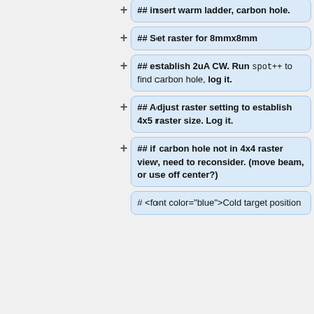## insert warm ladder, carbon hole.
## Set raster for 8mmx8mm
## establish 2uA CW. Run spot++ to find carbon hole, log it.
## Adjust raster setting to establish 4x5 raster size. Log it.
## if carbon hole not in 4x4 raster view, need to reconsider. (move beam, or use off center?)
# <font color="blue">Cold target position